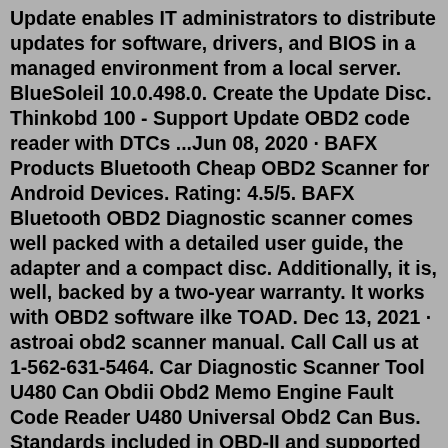Update enables IT administrators to distribute updates for software, drivers, and BIOS in a managed environment from a local server. BlueSoleil 10.0.498.0. Create the Update Disc. Thinkobd 100 - Support Update OBD2 code reader with DTCs ...Jun 08, 2020 · BAFX Products Bluetooth Cheap OBD2 Scanner for Android Devices. Rating: 4.5/5. BAFX Bluetooth OBD2 Diagnostic scanner comes well packed with a detailed user guide, the adapter and a compact disc. Additionally, it is, well, backed by a two-year warranty. It works with OBD2 software ilke TOAD. Dec 13, 2021 · astroai obd2 scanner manual. Call Call us at 1-562-631-5464. Car Diagnostic Scanner Tool U480 Can Obdii Obd2 Memo Engine Fault Code Reader U480 Universal Obd2 Can Bus. Standards included in OBD-II and supported by OBDTester software are ISO-9141, SAE J1962, SAE J1850, ISO-14230 (KWP-2000) and ISO-15765 (CAN-BUS). City of Toronto 05/12/2021. ⑤ Support 7 Language: English, French, Spanish, German,